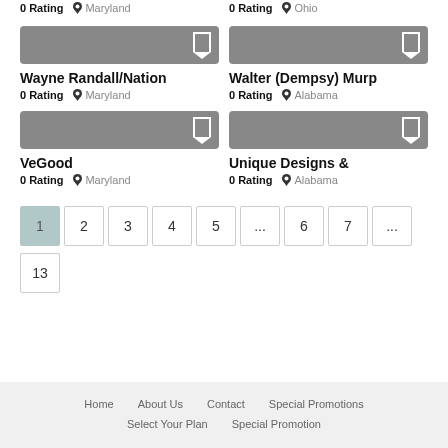0 Rating  Maryland (top-left card, partial)
0 Rating  Ohio (top-right card, partial)
[Figure (screenshot): Gray image placeholder for Wayne Randall/Nation listing card]
Wayne Randall/Nation
0 Rating  Maryland
[Figure (screenshot): Gray image placeholder for Walter (Dempsy) Murp listing card]
Walter (Dempsy) Murp
0 Rating  Alabama
[Figure (screenshot): Gray image placeholder for VeGood listing card]
VeGood
0 Rating  Maryland
[Figure (screenshot): Gray image placeholder for Unique Designs & listing card]
Unique Designs &
0 Rating  Alabama
Pagination: 1 (active), 2, 3, 4, 5, ..., 6, 7, ..., 13
Home  About Us  Contact  Special Promotions  Select Your Plan  Special Promotion